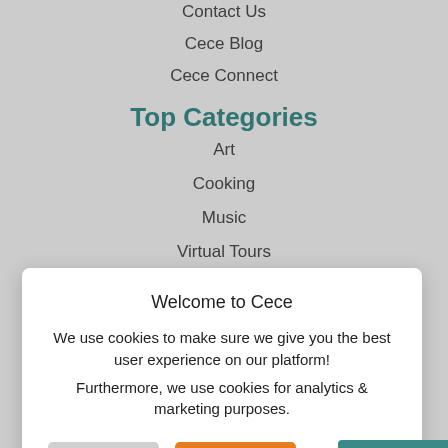Contact Us
Cece Blog
Cece Connect
Top Categories
Art
Cooking
Music
Virtual Tours
Wellness
Welcome to Cece
We use cookies to make sure we give you the best user experience on our platform!
Furthermore, we use cookies for analytics & marketing purposes.